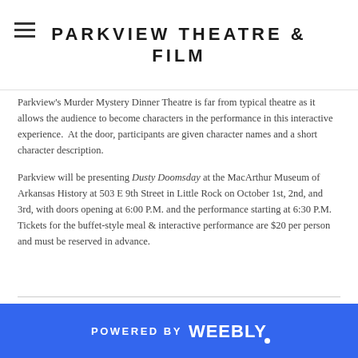PARKVIEW THEATRE & FILM
Parkview's Murder Mystery Dinner Theatre is far from typical theatre as it allows the audience to become characters in the performance in this interactive experience.  At the door, participants are given character names and a short character description.
Parkview will be presenting Dusty Doomsday at the MacArthur Museum of Arkansas History at 503 E 9th Street in Little Rock on October 1st, 2nd, and 3rd, with doors opening at 6:00 P.M. and the performance starting at 6:30 P.M. Tickets for the buffet-style meal & interactive performance are $20 per person and must be reserved in advance.
POWERED BY weebly